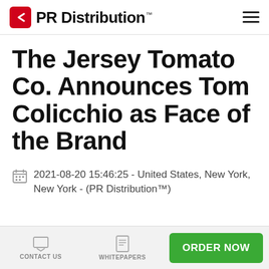PR Distribution™
The Jersey Tomato Co. Announces Tom Colicchio as Face of the Brand
2021-08-20 15:46:25 - United States, New York, New York - (PR Distribution™)
CONTACT US  WHITEPAPERS  ORDER NOW